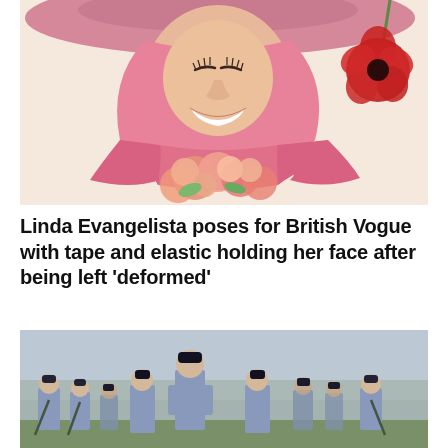[Figure (photo): Woman smiling wearing a pink wide-brim hat and pink silk headscarf, holding a bouquet of pink and peach roses with a large red poppy flower on the right side. Background is light cream/beige. Editorial fashion photo for British Vogue.]
Linda Evangelista poses for British Vogue with tape and elastic holding her face after being left 'deformed'
[Figure (photo): Group of uniformed police or military officers marching in formation outdoors, wearing light blue shirts and dark caps. One taller officer stands prominently in the center front. Overcast sky in the background.]